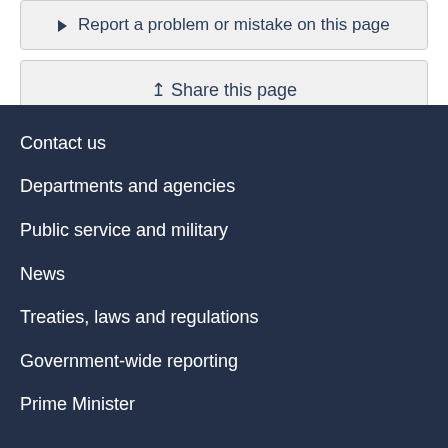► Report a problem or mistake on this page
Share this page
Date modified: 2017-05-05
Contact us
Departments and agencies
Public service and military
News
Treaties, laws and regulations
Government-wide reporting
Prime Minister